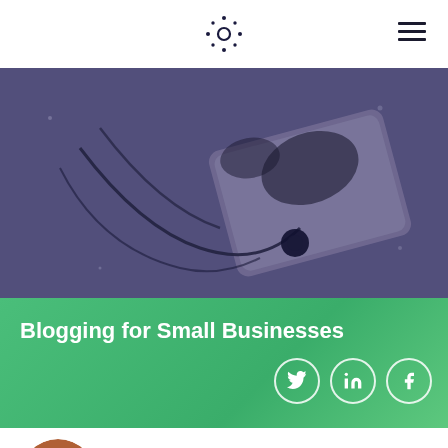Navigation header with logo and hamburger menu
[Figure (photo): Dark purple-tinted overhead photo of earphones/headphones on a surface]
Blogging for Small Businesses
[Figure (infographic): Social share icons: Twitter, LinkedIn, Facebook in white circles on green banner]
Jim Morrison
A High Brow Introduction